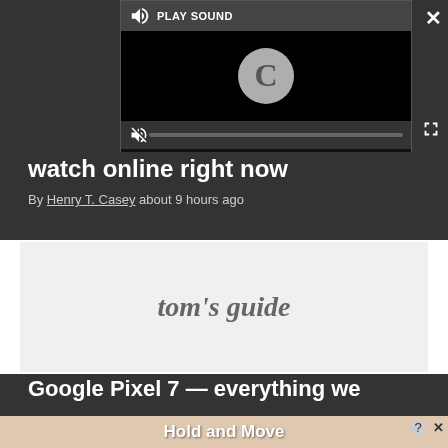[Figure (screenshot): Video player popup overlay with 'PLAY SOUND' button at top, loading circle spinner in dark video area, muted speaker icon at bottom left, and progress bar]
watch online right now
By Henry T. Casey about 9 hours ago
[Figure (logo): Tom's Guide logo on light gray advertisement area]
Google Pixel 7 — everything we
[Figure (screenshot): Bottom advertisement banner with blue character figures and text 'Hold and Move' on a wooden/beige background, with close X and question mark buttons]